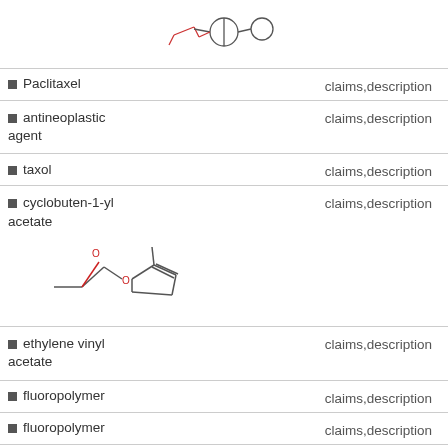[Figure (chemical-structure): Chemical structure of Paclitaxel (partial, top of page)]
| Term | Location |
| --- | --- |
| Paclitaxel | claims,description |
| antineoplastic agent | claims,description |
| taxol | claims,description |
| cyclobuten-1-yl acetate [with chemical structure] | claims,description |
| ethylene vinyl acetate | claims,description |
| fluoropolymer | claims,description |
| fluoropolymer | claims,description |
| poly(ethylene-vinyl acetate) | claims,description |